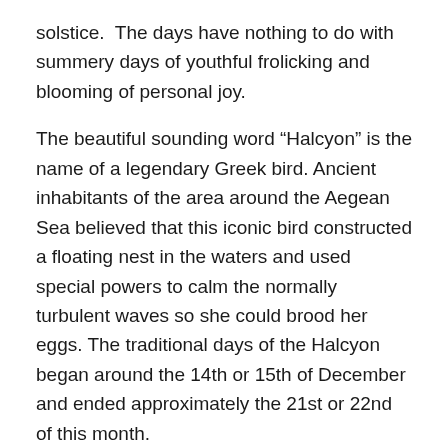solstice.  The days have nothing to do with summery days of youthful frolicking and blooming of personal joy.
The beautiful sounding word “Halcyon” is the name of a legendary Greek bird. Ancient inhabitants of the area around the Aegean Sea believed that this iconic bird constructed a floating nest in the waters and used special powers to calm the normally turbulent waves so she could brood her eggs. The traditional days of the Halcyon began around the 14th or 15th of December and ended approximately the 21st or 22nd of this month.
A romantic story about the beginnings of this old belief began with a tale that was written down by the Roman poet, Ovid. His version relates that the ruler of the winds, Aeolus, had a daughter named Alcyone.  She was married to the king of Thessaly, Ceyx. One day, Ceyx drowned in